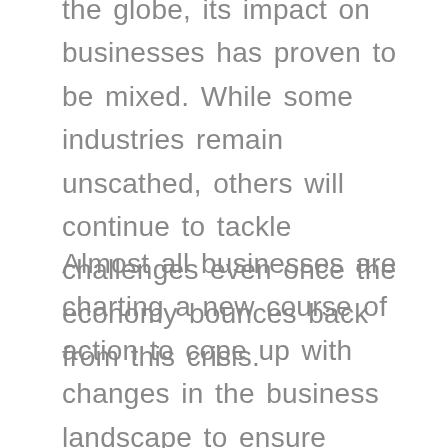the globe, its impact on businesses has proven to be mixed. While some industries remain unscathed, others will continue to tackle challenges even once the economy bounces back from this crisis.
Almost all businesses are charting a new course of action to cope up with changes in the business landscape to ensure profitability in the forthcoming